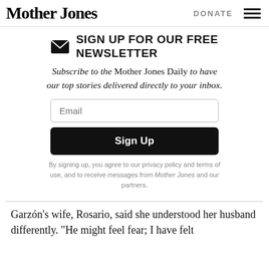Mother Jones | DONATE
SIGN UP FOR OUR FREE NEWSLETTER
Subscribe to the Mother Jones Daily to have our top stories delivered directly to your inbox.
Email
Sign Up
By signing up, you agree to our privacy policy and terms of use, and to receive messages from Mother Jones and our partners.
Garzón's wife, Rosario, said she understood her husband differently. "He might feel fear; I have felt